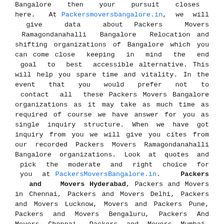Bangalore then your pursuit closes here. At Packersmoversbangalore.in, we will give data about Packers Movers Ramagondanahalli Bangalore Relocation and shifting organizations of Bangalore which you can come close keeping in mind the end goal to best accessible alternative. This will help you spare time and vitality. In the event that you would prefer not to contact all these Packers Movers Bangalore organizations as it may take as much time as required of course we have answer for you as single inquiry structure. When we have got inquiry from you we will give you cites from our recorded Packers Movers Ramagondanahalli Bangalore organizations. Look at quotes and pick the moderate and right choice for you at PackersMoversBangalore.in. Packers and Movers Hyderabad, Packers and Movers in Chennai, Packers and Movers Delhi, Packers and Movers Lucknow, Movers and Packers Pune, Packers and Movers Bengaluru, Packers And Movers Chennai, Packers and Movers Mumbai, Packers and Movers Pune, Packers and Movers Bhubaneswar, Packers and Movers Kolkata, Packers and Movers in Bangalore, Packers and Movers in Pune, Packers and Movers Jaipur, Packers and Movers Gurgaon, Packers and Movers Chandigarh, Packers and Movers in Ahmedabad, Packers and